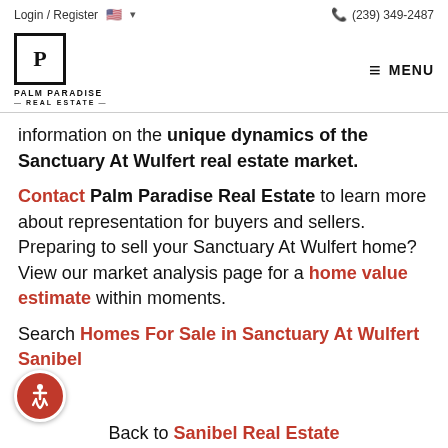Login / Register  🇺🇸 ▾   📞 (239) 349-2487
[Figure (logo): Palm Paradise Real Estate logo — square P icon with PALM PARADISE REAL ESTATE text, and MENU hamburger icon on right]
information on the unique dynamics of the Sanctuary At Wulfert real estate market.
Contact Palm Paradise Real Estate to learn more about representation for buyers and sellers. Preparing to sell your Sanctuary At Wulfert home? View our market analysis page for a home value estimate within moments.
Search Homes For Sale in Sanctuary At Wulfert Sanibel
Back to Sanibel Real Estate